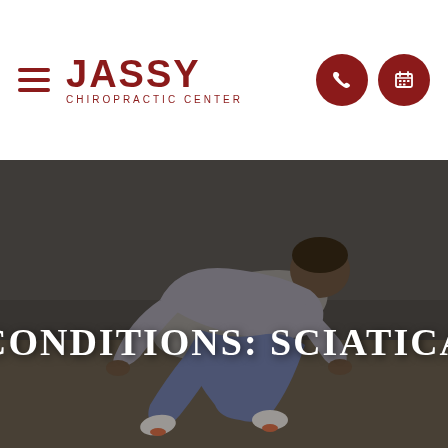JASSY CHIROPRACTIC CENTER
[Figure (photo): A man in a grey t-shirt doing a push-up position on a beach/sandy surface, photographed from the side at an angle. The image has a dark, muted tone. Overlaid text reads CONDITIONS: SCIATICA in large white serif letters.]
CONDITIONS: SCIATICA